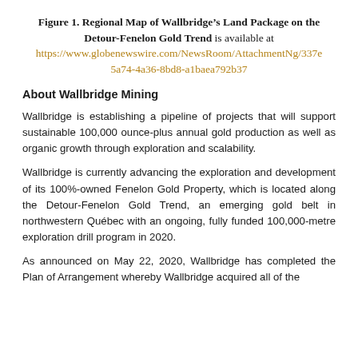Figure 1. Regional Map of Wallbridge’s Land Package on the Detour-Fenelon Gold Trend is available at https://www.globenewswire.com/NewsRoom/AttachmentNg/337e5a74-4a36-8bd8-a1baea792b37
About Wallbridge Mining
Wallbridge is establishing a pipeline of projects that will support sustainable 100,000 ounce-plus annual gold production as well as organic growth through exploration and scalability.
Wallbridge is currently advancing the exploration and development of its 100%-owned Fenelon Gold Property, which is located along the Detour-Fenelon Gold Trend, an emerging gold belt in northwestern Québec with an ongoing, fully funded 100,000-metre exploration drill program in 2020.
As announced on May 22, 2020, Wallbridge has completed the Plan of Arrangement whereby Wallbridge acquired all of the